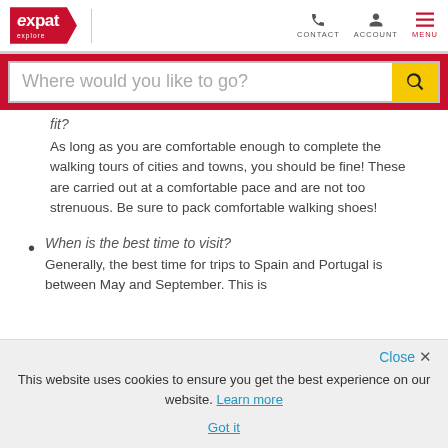expat explore — CONTACT ACCOUNT MENU
Where would you like to go?
fit?
As long as you are comfortable enough to complete the walking tours of cities and towns, you should be fine! These are carried out at a comfortable pace and are not too strenuous. Be sure to pack comfortable walking shoes!
When is the best time to visit? Generally, the best time for trips to Spain and Portugal is between May and September. This is
This website uses cookies to ensure you get the best experience on our website. Learn more
Got it